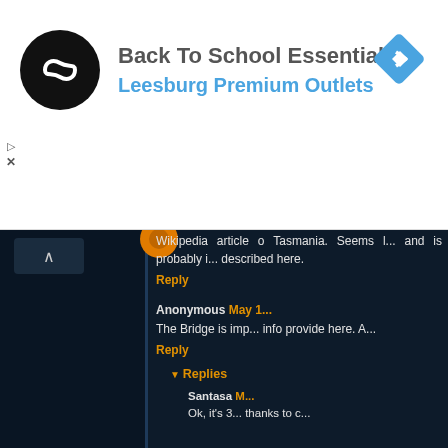[Figure (screenshot): Advertisement banner for Back To School Essentials at Leesburg Premium Outlets with a black circular logo and blue diamond icon on the right]
Back To School Essentials
Leesburg Premium Outlets
Wikipedia article about Tasmania. Seems l... and is probably i... described here.
Reply
Anonymous May 1...
The Bridge is imp... info provide here. A...
Reply
Replies
Santasa M...
Ok, it's 3... thanks to c...